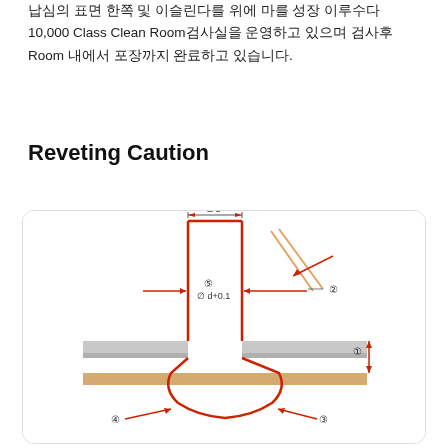납심의 표면 한쪽 및 이슬린다를 위에 마를 성장 이루수다 10,000 Class Clean Room검사실을 운영하고 있으며 검사후 Room 내에서 포장까지 완료하고 있습니다.
Reveting Caution
[Figure (engineering-diagram): Riveting caution diagram showing a rivet cross-section with labeled parts: ①thickness of material, ② rivet body, ③ bottom deformation, ④ side arrow, ⑤ hole center labeled ød+0.1. Top dimension shows ød (diameter). Red outline shows rivet shape through two gray metal plates with tan/gold bottom layer. Arrows indicate press directions.]